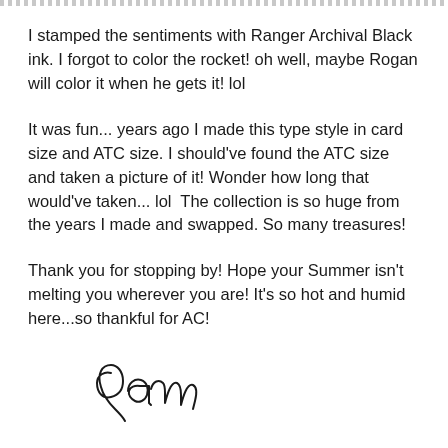I stamped the sentiments with Ranger Archival Black ink. I forgot to color the rocket!  oh well, maybe Rogan will color it when he gets it! lol
It was fun... years ago I made this type style in card size and ATC size.  I should've found the ATC size and taken a picture of it!  Wonder how long that would've taken... lol  The collection is so huge from the years I made and swapped. So many treasures!
Thank you for stopping by!  Hope your Summer isn't melting you wherever you are!  It's so hot and humid here...so thankful for AC!
[Figure (illustration): Handwritten cursive signature reading 'Pam']